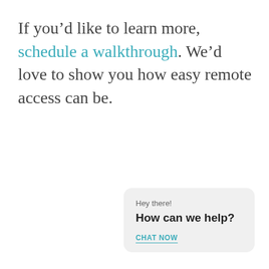If you'd like to learn more, schedule a walkthrough. We'd love to show you how easy remote access can be.
[Figure (screenshot): Chat widget popup with text 'Hey there! How can we help?' and a 'CHAT NOW' link.]